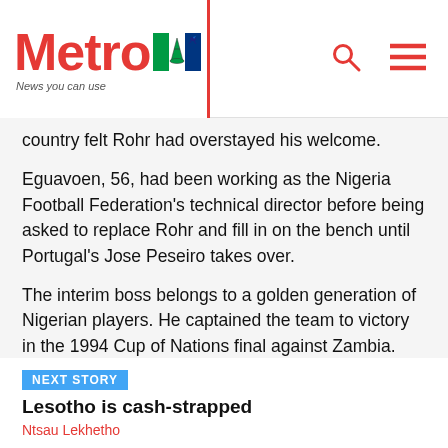Metro | News you can use
country felt Rohr had overstayed his welcome.
Eguavoen, 56, had been working as the Nigeria Football Federation's technical director before being asked to replace Rohr and fill in on the bench until Portugal's Jose Peseiro takes over.
The interim boss belongs to a golden generation of Nigerian players. He captained the team to victory in the 1994 Cup of Nations final against Zambia.
A defender, Eguavoen played alongside Jay Jay Okocha, Sunday Oliseh, Finidi George, Daniel
NEXT STORY
Lesotho is cash-strapped
Ntsau Lekhetho